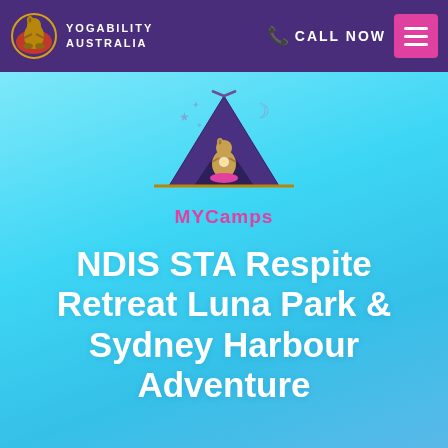YOGABILITY AUSTRALIA – CALL NOW
[Figure (logo): MYCamps logo: tent/teepee shape in purple with a meditating kangaroo inside, stars and crescent moon above, with 'MYCamps' text in pink below]
NDIS STA Respite Retreat Luna Park & Sydney Harbour Adventure